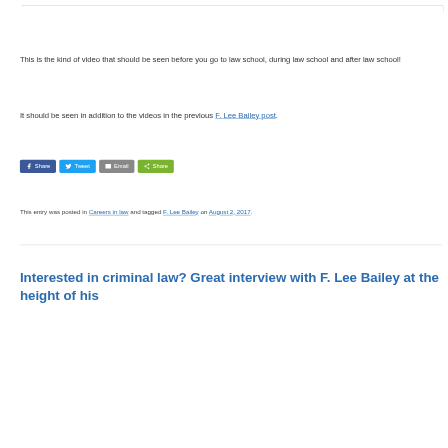This is the kind of video that should be seen before you go to law school, during law school and after law school!
It should be seen in addition to the videos in the previous F. Lee Bailey post.
[Figure (other): Social share buttons: Facebook Share, Twitter Tweet, Email, Share (green)]
This entry was posted in Careers in law and tagged F. Lee Bailey on August 2, 2017.
Interested in criminal law? Great interview with F. Lee Bailey at the height of his